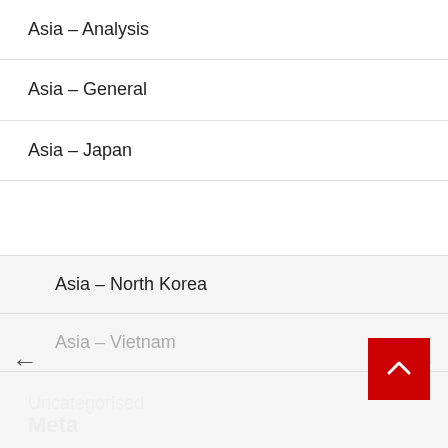Asia – Analysis
Asia – General
Asia – Japan
Asia – North Korea
Asia – Vietnam
Uncategorised
Meta